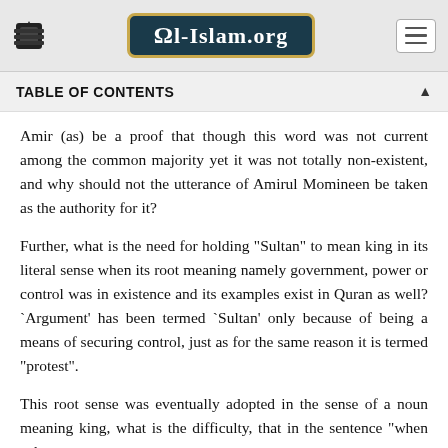Al-Islam.org
TABLE OF CONTENTS
Amir (as) be a proof that though this word was not current among the common majority yet it was not totally non-existent, and why should not the utterance of Amirul Momineen be taken as the authority for it?
Further, what is the need for holding "Sultan" to mean king in its literal sense when its root meaning namely government, power or control was in existence and its examples exist in Quran as well? `Argument' has been termed `Sultan' only because of being a means of securing control, just as for the same reason it is termed "protest".
This root sense was eventually adopted in the sense of a noun meaning king, what is the difficulty, that in the sentence "when sultan...